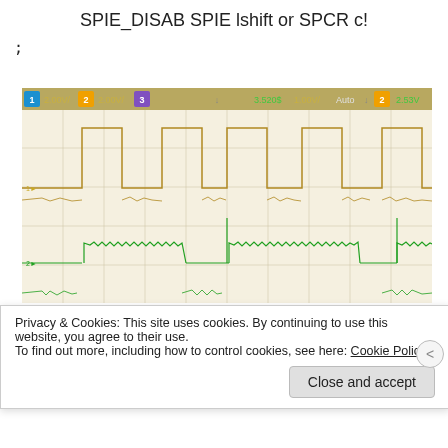SPIE_DISAB SPIE lshift or SPCR c!
;
[Figure (oscilloscope): Oscilloscope screenshot showing two channels. Channel 1 (yellow/gold) displays a square wave signal at 2.00V/div, Channel 2 (green) displays clock/data signal at 2.00V/div. Header shows: 1 2.00V/ 2 2.00V/ 3 [blank] F 3.520$ 1.00V/ Auto F 2 2.53V]
Privacy & Cookies: This site uses cookies. By continuing to use this website, you agree to their use.
To find out more, including how to control cookies, see here: Cookie Policy
Close and accept